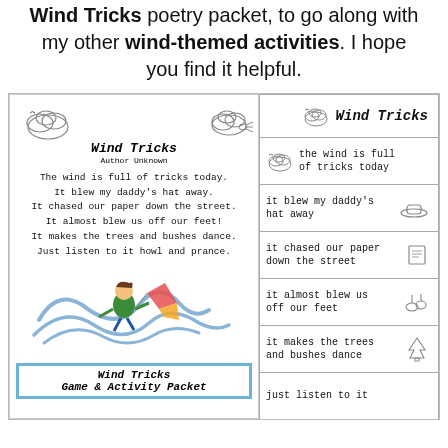Wind Tricks poetry packet, to go along with my other wind-themed activities. I hope you find it helpful.
[Figure (illustration): Educational activity page showing Wind Tricks poem on left panel with cloud illustrations and a child being blown by wind illustration, and sentence strip cards on right panel with poem lines and clip art icons]
Wind Tricks Game & Activity Packet